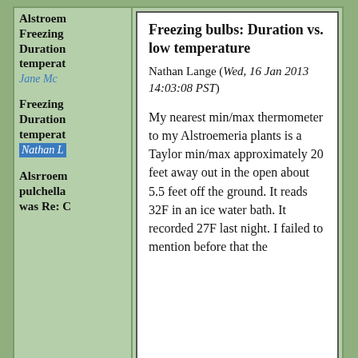Alstroem...
Freezing
Duration
temperature
Jane Mc...
Freezing
Duration
temperature
Nathan L... (highlighted)
Alsrroemeria pulchella was Re: ...
Freezing bulbs: Duration vs. low temperature
Nathan Lange (Wed, 16 Jan 2013 14:03:08 PST)
My nearest min/max thermometer to my Alstroemeria plants is a Taylor min/max approximately 20 feet away out in the open about 5.5 feet off the ground. It reads 32F in an ice water bath. It recorded 27F last night. I failed to mention before that the